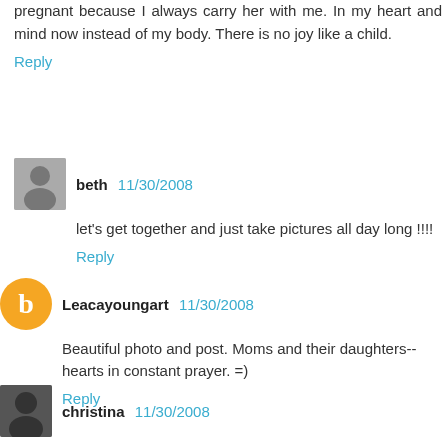pregnant because I always carry her with me. In my heart and mind now instead of my body. There is no joy like a child.
Reply
beth  11/30/2008
let's get together and just take pictures all day long !!!!
Reply
Leacayoungart  11/30/2008
Beautiful photo and post. Moms and their daughters--hearts in constant prayer. =)
Reply
christina  11/30/2008
Awww... this is making me all teary. Beautiful, my friend.
Reply